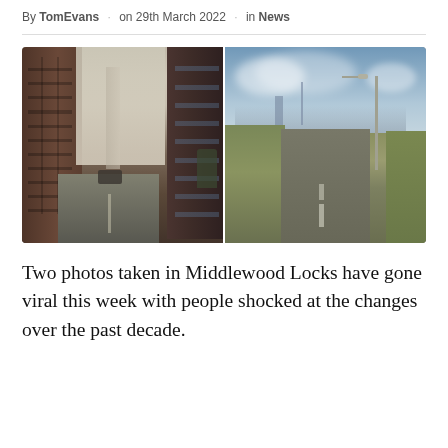By TomEvans · on 29th March 2022 · in News
[Figure (photo): Two side-by-side photos of Middlewood Locks, Manchester. Left photo shows a modern urban street lined with tall red-brick apartment buildings with a skyscraper visible in the background haze. Right photo shows the same area before development — an empty road through wasteland with a streetlamp, and the city skyline visible in the distance.]
Two photos taken in Middlewood Locks have gone viral this week with people shocked at the changes over the past decade.